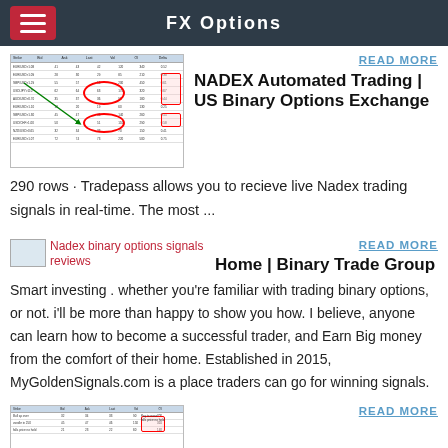FX Options
[Figure (screenshot): Spreadsheet screenshot with red circle highlights and green arrows indicating Nadex trading data]
READ MORE
NADEX Automated Trading | US Binary Options Exchange
290 rows · Tradepass allows you to recieve live Nadex trading signals in real-time. The most ...
[Figure (photo): Nadex binary options signals reviews - small broken image placeholder]
READ MORE
Home | Binary Trade Group
Smart investing . whether you're familiar with trading binary options, or not. i'll be more than happy to show you how. I believe, anyone can learn how to become a successful trader, and Earn Big money from the comfort of their home. Established in 2015, MyGoldenSignals.com is a place traders can go for winning signals.
[Figure (screenshot): Spreadsheet screenshot at bottom of page]
READ MORE